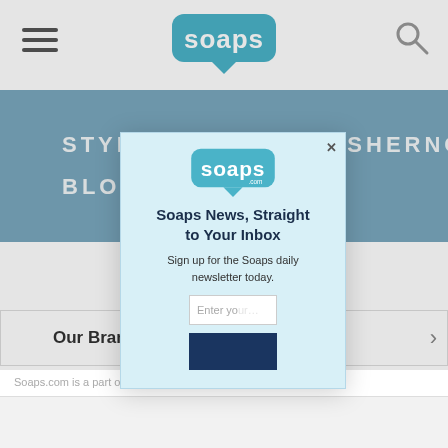soaps.com navigation bar with hamburger menu and search icon
STYLECASTER   SHERNOWS
BLOGHER
Soaps.com is a part of    Media, LLC. All Rights
Our Brands
[Figure (screenshot): Modal popup newsletter signup: Soaps.com logo, headline 'Soaps News, Straight to Your Inbox', subtext 'Sign up for the Soaps daily newsletter today.', email input, and submit button. Close X in upper right.]